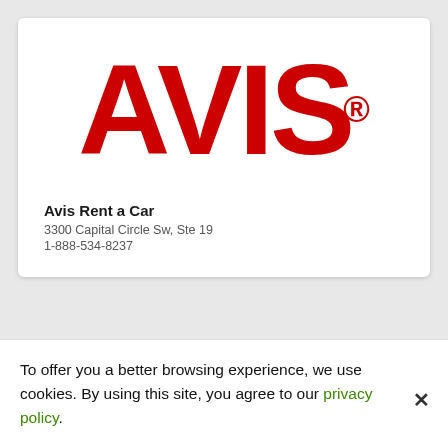[Figure (logo): Avis rent a car logo — large red bold AVIS text with registered trademark symbol]
Avis Rent a Car
3300 Capital Circle Sw, Ste 19
1-888-534-8237
To offer you a better browsing experience, we use cookies. By using this site, you agree to our privacy policy.